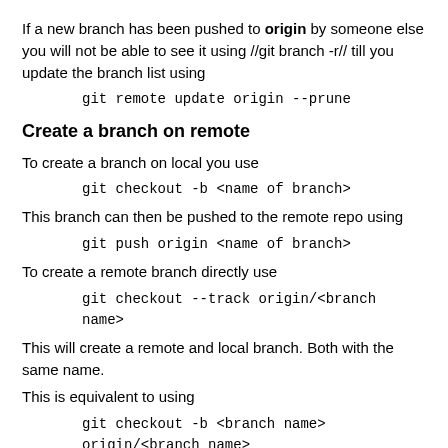If a new branch has been pushed to **origin** by someone else you will not be able to see it using //git branch -r// till you update the branch list using
git remote update origin --prune
Create a branch on remote
To create a branch on local you use
git checkout -b <name of branch>
This branch can then be pushed to the remote repo using
git push origin <name of branch>
To create a remote branch directly use
git checkout --track origin/<branch name>
This will create a remote and local branch. Both with the same name.
This is equivalent to using
git checkout -b <branch name> origin/<branch name>